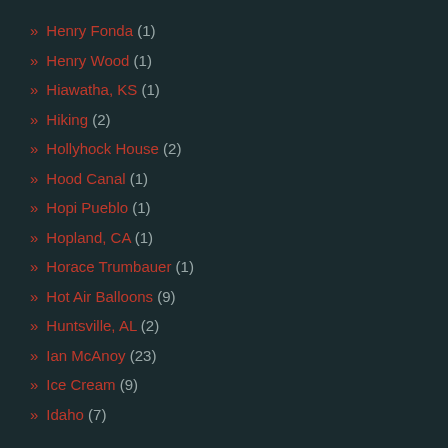» Henry Fonda (1)
» Henry Wood (1)
» Hiawatha, KS (1)
» Hiking (2)
» Hollyhock House (2)
» Hood Canal (1)
» Hopi Pueblo (1)
» Hopland, CA (1)
» Horace Trumbauer (1)
» Hot Air Balloons (9)
» Huntsville, AL (2)
» Ian McAnoy (23)
» Ice Cream (9)
» Idaho (7)